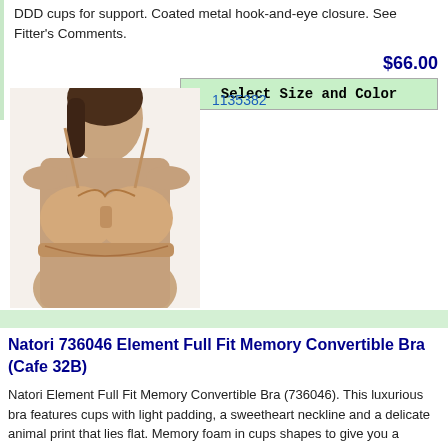DDD cups for support. Coated metal hook-and-eye closure. See Fitter's Comments.
$66.00
Select Size and Color
1135382
[Figure (photo): Woman wearing a nude/beige convertible bra (Natori Element Full Fit Memory Convertible Bra), showing the front view with smooth cups and thin straps.]
Natori 736046 Element Full Fit Memory Convertible Bra (Cafe 32B)
Natori Element Full Fit Memory Convertible Bra (736046). This luxurious bra features cups with light padding, a sweetheart neckline and a delicate animal print that lies flat. Memory foam in cups shapes to give you a personalized fit. Convertible straps can be worn crossed back or straight for versatile styling. Contour/t-shirt bra has